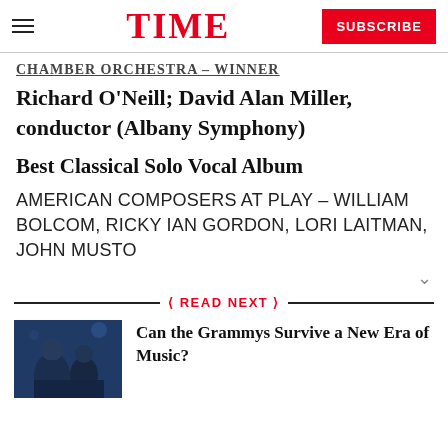TIME — SUBSCRIBE
CHAMBER ORCHESTRA – WINNER
Richard O'Neill; David Alan Miller, conductor (Albany Symphony)
Best Classical Solo Vocal Album
AMERICAN COMPOSERS AT PLAY – WILLIAM BOLCOM, RICKY IAN GORDON, LORI LAITMAN, JOHN MUSTO
READ NEXT
Can the Grammys Survive a New Era of Music?
[Figure (photo): Photo of a musician performing, dark blue stage lighting]